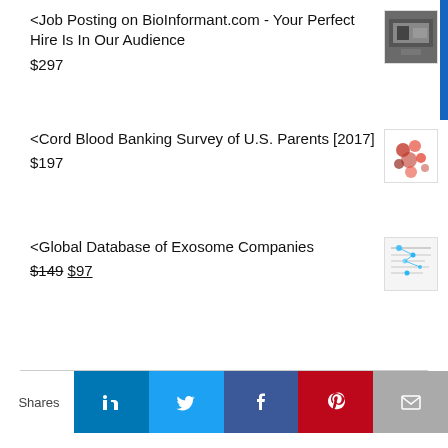<Job Posting on BioInformant.com - Your Perfect Hire Is In Our Audience $297
<Cord Blood Banking Survey of U.S. Parents [2017] $197
<Global Database of Exosome Companies $149 $97
Shares [LinkedIn] [Twitter] [Facebook] [Pinterest] [Email]